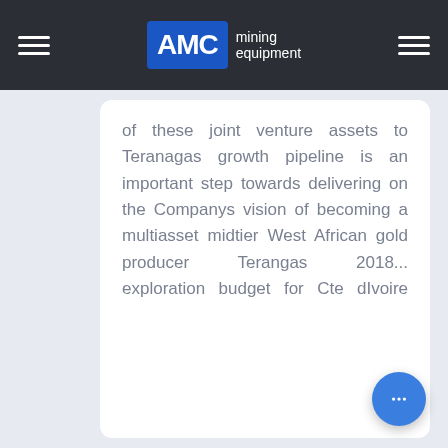AMC mining equipment
of these joint venture assets to Teranagas growth pipeline is an important step towards delivering on the Companys vision of becoming a multiasset midtier West African gold producer Terangas 2018... exploration budget for Cte dIvoire was
[Figure (other): Empty white card below the text card]